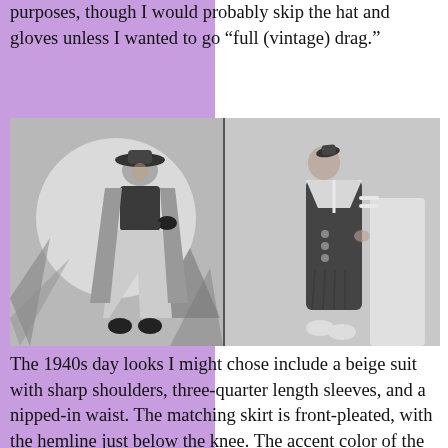purposes, though I would probably skip the hat and gloves unless I wanted to go “full (vintage) drag.”
[Figure (photo): Two black-and-white vintage fashion photographs side by side. Left: a woman wearing a dark blouse, wide-leg light trousers, a long coat, gloves, and a wide-brimmed hat, posing in front of tropical foliage. Right: a woman wearing a dark sailor-style dress with white trim, buttons at the hip, and a small tilt hat, standing in a studio setting.]
The 1940s day looks I might chose include a beige suit with sharp shoulders, three-quarter length sleeves, and a nipped-in waist. The matching skirt is front-pleated, with the hemline just below the knee. The accent color of the hat, ascot, and